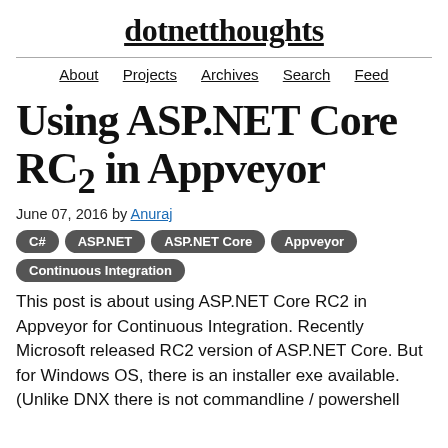dotnetthoughts
About  Projects  Archives  Search  Feed
Using ASP.NET Core RC2 in Appveyor
June 07, 2016 by Anuraj
C#
ASP.NET
ASP.NET Core
Appveyor
Continuous Integration
This post is about using ASP.NET Core RC2 in Appveyor for Continuous Integration. Recently Microsoft released RC2 version of ASP.NET Core. But for Windows OS, there is an installer exe available. (Unlike DNX there is not commandline / powershell